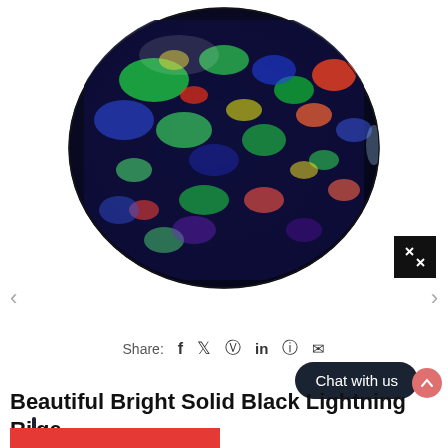[Figure (photo): Close-up photo of a black opal gemstone with vivid multicolor play-of-color including green, blue, red, orange and yellow hues against a dark base, shown as an oval cabochon shape on white background.]
Share: f ♥ ℗ in ⊕ ✉
Chat with us
Beautiful Bright Solid Black Lightning Ridge Opal 1321 / 1.48ct